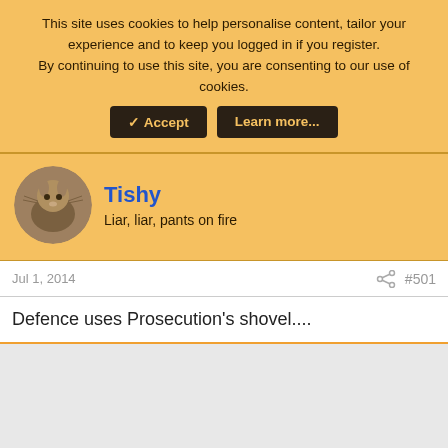This site uses cookies to help personalise content, tailor your experience and to keep you logged in if you register. By continuing to use this site, you are consenting to our use of cookies.
✓ Accept | Learn more...
Tishy
Liar, liar, pants on fire
Jul 1, 2014
#501
Defence uses Prosecution's shovel....